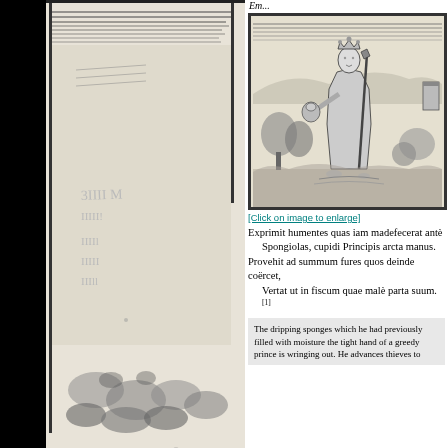[Figure (illustration): Partial view of a historical woodcut illustration, left portion visible showing a landscape with vegetation at the bottom, bordered frame, with faint markings in the middle. Left side has a black bar obscuring the edge.]
Em...
[Figure (illustration): Historical woodcut illustration showing a crowned king or prince figure holding a scepter in one hand and what appears to be a head or object in the other outstretched hand. Background shows hills, trees, and a small structure. Figure stands in a landscape with water at feet.]
[Click on image to enlarge]
Exprimit humentes quas iam madefecerat antè
    Spongiolas, cupidi Principis arcta manus.
Provehit ad summum fures quos deinde coërcet,
    Vertat ut in fiscum quae malè parta suum.[1]
The dripping sponges which he had previously filled with moisture the tight hand of a greedy prince is wringing out. He advances thieves to